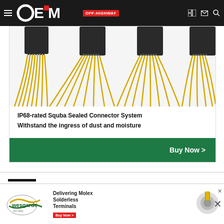OEM Off-Highway
[Figure (photo): IP68-rated Squba Sealed Connector System — multiple black rectangular connectors with yellow flat ribbon cables fanning out below them]
IP68-rated Squba Sealed Connector System
Withstand the ingress of dust and moisture
Buy Now >
Reco
[Figure (logo): Wesgarde logo with 'Delivering Molex Solderless Terminals Buy Now >' advertisement banner and a connector terminal image]